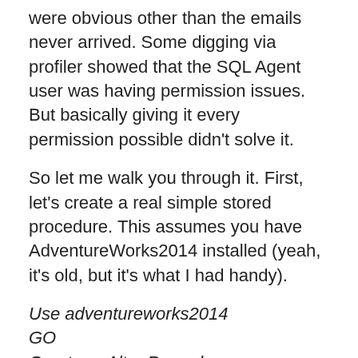were obvious other than the emails never arrived. Some digging via profiler showed that the SQL Agent user was having permission issues. But basically giving it every permission possible didn't solve it.
So let me walk you through it. First, let's create a real simple stored procedure. This assumes you have AdventureWorks2014 installed (yeah, it's old, but it's what I had handy).
Use adventureworks2014
GO
Create or Alter Procedure Send_Test_Email
as
exec msdb.dbo.sp_send_dbmail
@recipients='test@example.com', @body='This is the body of the email', @subject='Test Email w query